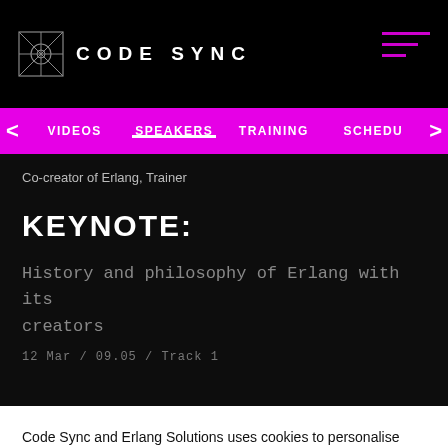CODE SYNC
VIDEOS | SPEAKERS | TRAINING | SCHEDU
Co-creator of Erlang, Trainer
KEYNOTE:
History and philosophy of Erlang with its creators
12 Mar / 09.05 / Track 1
Code Sync and Erlang Solutions uses cookies to personalise your experience. By using this site you consent to the use of cookies Cookie Policy
Got it